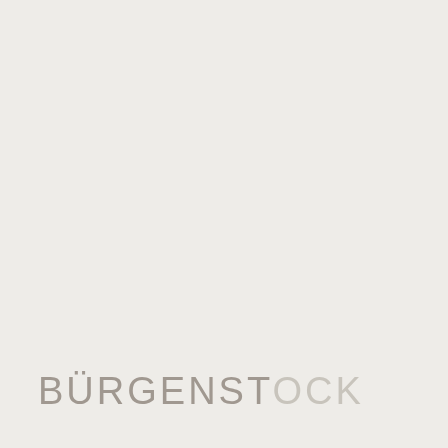[Figure (logo): Bürgenstock hotel/resort logo on a warm off-white background. The word BÜRGENSTOCK rendered in a light sans-serif typeface. The first portion 'BÜRGЕНST' is in a medium taupe/grey color and 'OCK' is in a lighter grey, creating a two-tone effect.]